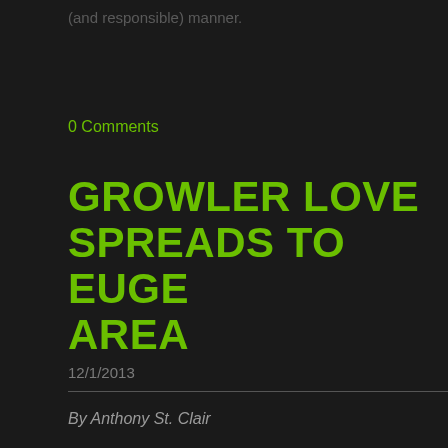(and responsible) manner.
0 Comments
GROWLER LOVE SPREADS TO EUGE AREA
12/1/2013
By Anthony St. Clair
With growler fill stations opening throughout Oregon, more p can be expanded. Saddled in a 1918 former loading dock nea Steelhead Brewing Company and Cornucopia Bar & Burgers o to be more than just another fill-and-go.